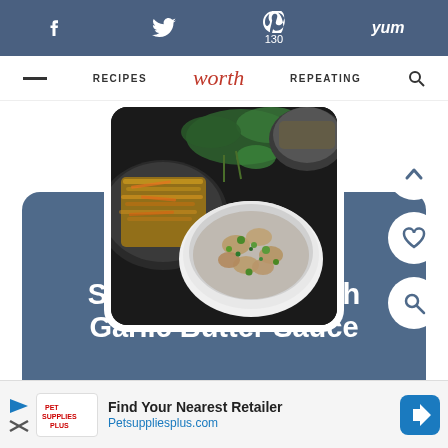f  [Twitter icon] 130  [Pinterest icon]  yum
RECIPES  worth  REPEATING
[Figure (photo): Overhead view of two bowls of food on dark background: one black bowl with shredded ingredients and one white bowl with chicken in garlic butter sauce with peas, garnished with green herbs]
Skillet Chicken with Garlic Butter Sauce
Find Your Nearest Retailer Petsuppliesplus.com